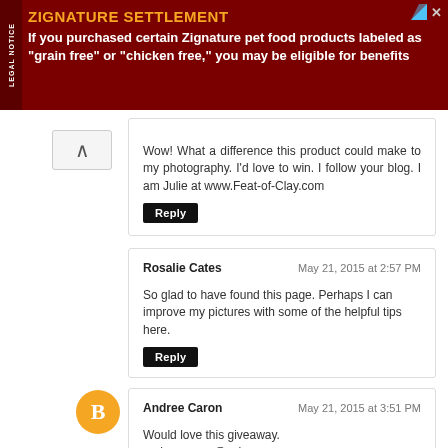[Figure (infographic): Legal notice advertisement banner for Zignature Settlement in dark red/maroon color with gold title text and white body text. Title: ZIGNATURE SETTLEMENT. Body: If you purchased certain Zignature pet food products labeled as 'grain free' or 'chicken free,' you may be eligible for benefits]
Wow! What a difference this product could make to my photography. I'd love to win. I follow your blog. I am Julie at www.Feat-of-Clay.com
Reply
Rosalie Cates
May 21, 2015 at 2:57 PM
So glad to have found this page. Perhaps I can improve my pictures with some of the helpful tips here.
Reply
Andree Caron
May 21, 2015 at 3:51 PM
Would love this giveaway.
andree.caron@yahoo.ca
Reply